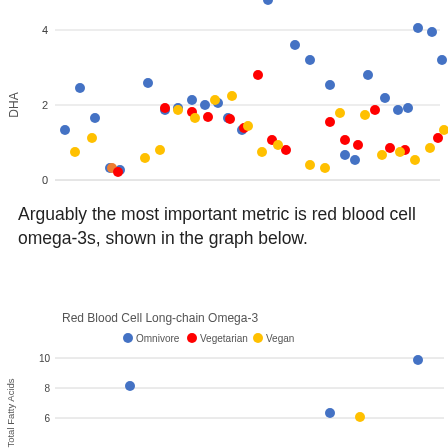[Figure (continuous-plot): Scatter plot of DHA values (y-axis 0-4+) across participants for Omnivore (blue), Vegetarian (red), and Vegan (yellow) groups. Top portion of chart visible.]
Arguably the most important metric is red blood cell omega-3s, shown in the graph below.
[Figure (continuous-plot): Scatter plot titled 'Red Blood Cell Long-chain Omega-3' with y-axis labeled 'Total Fatty Acids', showing values for Omnivore (blue), Vegetarian (red), and Vegan (yellow). Y-axis shows 6, 8, 10. Partial chart visible at bottom of page.]